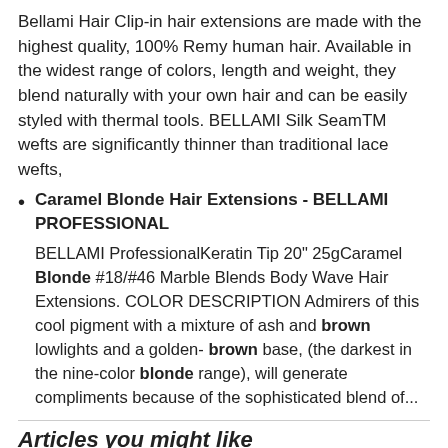Bellami Hair Clip-in hair extensions are made with the highest quality, 100% Remy human hair. Available in the widest range of colors, length and weight, they blend naturally with your own hair and can be easily styled with thermal tools. BELLAMI Silk SeamTM wefts are significantly thinner than traditional lace wefts,
Caramel Blonde Hair Extensions - BELLAMI PROFESSIONAL
BELLAMI ProfessionalKeratin Tip 20" 25gCaramel Blonde #18/#46 Marble Blends Body Wave Hair Extensions. COLOR DESCRIPTION Admirers of this cool pigment with a mixture of ash and brown lowlights and a golden- brown base, (the darkest in the nine-color blonde range), will generate compliments because of the sophisticated blend of...
Articles you might like